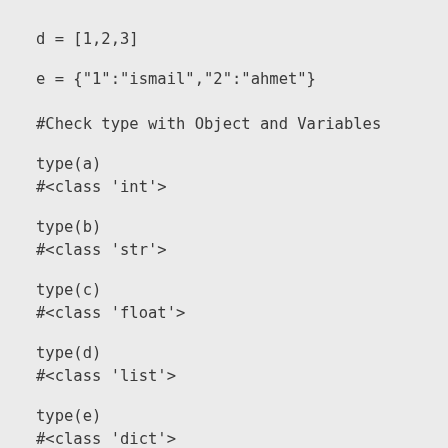d = [1,2,3]
e = {"1":"ismail","2":"ahmet"}
#Check type with Object and Variables
type(a)
#<class 'int'>
type(b)
#<class 'str'>
type(c)
#<class 'float'>
type(d)
#<class 'list'>
type(e)
#<class 'dict'>